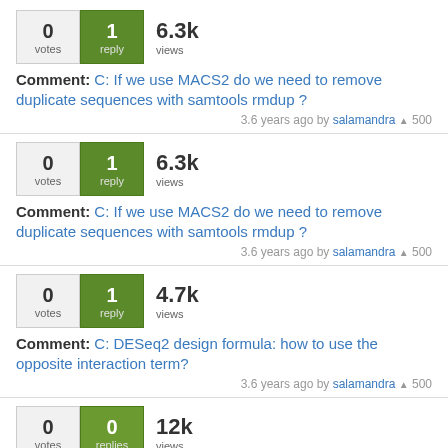0 votes | 1 reply | 6.3k views
Comment: C: If we use MACS2 do we need to remove duplicate sequences with samtools rmdup ?
3.6 years ago by salamandra ▲ 500
0 votes | 1 reply | 6.3k views
Comment: C: If we use MACS2 do we need to remove duplicate sequences with samtools rmdup ?
3.6 years ago by salamandra ▲ 500
0 votes | 1 reply | 4.7k views
Comment: C: DESeq2 design formula: how to use the opposite interaction term?
3.6 years ago by salamandra ▲ 500
0 votes | 0 replies | 12k views